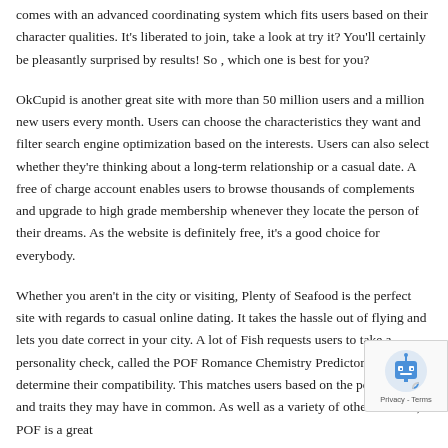comes with an advanced coordinating system which fits users based on their character qualities. It's liberated to join, take a look at try it? You'll certainly be pleasantly surprised by results! So , which one is best for you?
OkCupid is another great site with more than 50 million users and a million new users every month. Users can choose the characteristics they want and filter search engine optimization based on the interests. Users can also select whether they're thinking about a long-term relationship or a casual date. A free of charge account enables users to browse thousands of complements and upgrade to high grade membership whenever they locate the person of their dreams. As the website is definitely free, it's a good choice for everybody.
Whether you aren't in the city or visiting, Plenty of Seafood is the perfect site with regards to casual online dating. It takes the hassle out of flying and lets you date correct in your city. A lot of Fish requests users to take a personality check, called the POF Romance Chemistry Predictor, to determine their compatibility. This matches users based on the personalities and traits they may have in common. As well as a variety of other features, POF is a great
[Figure (other): reCAPTCHA badge widget with robot icon and Privacy - Terms text]